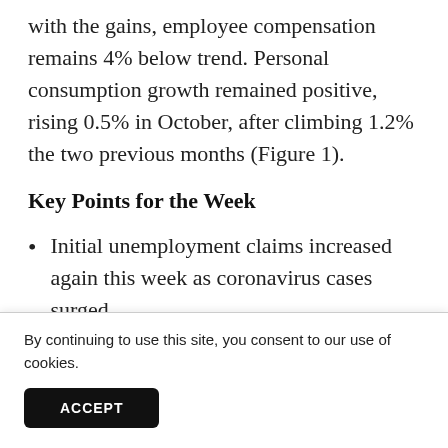with the gains, employee compensation remains 4% below trend. Personal consumption growth remained positive, rising 0.5% in October, after climbing 1.2% the two previous months (Figure 1).
Key Points for the Week
Initial unemployment claims increased again this week as coronavirus cases surged.
Personal income and spending reflected COVID-19's renewed strength and the
By continuing to use this site, you consent to our use of cookies.